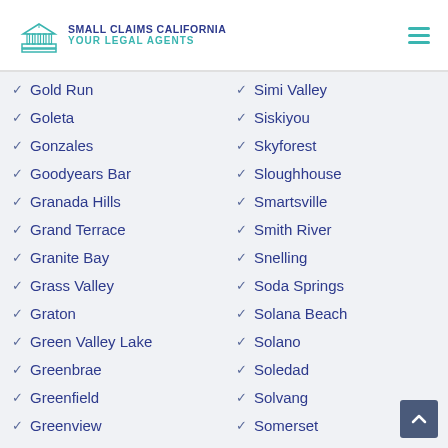SMALL CLAIMS CALIFORNIA YOUR LEGAL AGENTS
Gold Run
Goleta
Gonzales
Goodyears Bar
Granada Hills
Grand Terrace
Granite Bay
Grass Valley
Graton
Green Valley Lake
Greenbrae
Greenfield
Greenview
Simi Valley
Siskiyou
Skyforest
Sloughhouse
Smartsville
Smith River
Snelling
Soda Springs
Solana Beach
Solano
Soledad
Solvang
Somerset